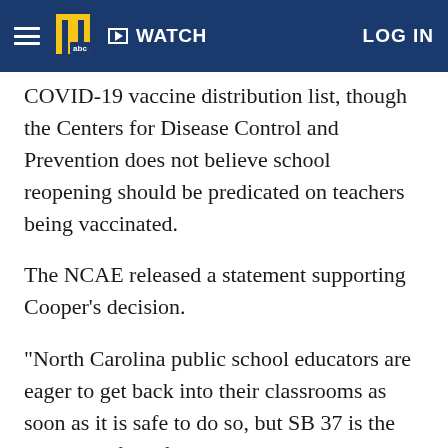WATCH  LOG IN
COVID-19 vaccine distribution list, though the Centers for Disease Control and Prevention does not believe school reopening should be predicated on teachers being vaccinated.
The NCAE released a statement supporting Cooper's decision.
"North Carolina public school educators are eager to get back into their classrooms as soon as it is safe to do so, but SB 37 is the opposite of a safe return to in-person instruction," said NCAE President Tamika Walker Kelly. "By attempting to pre-empt the decision-making authority of local school boards and the superintendent, if passed, this bill would